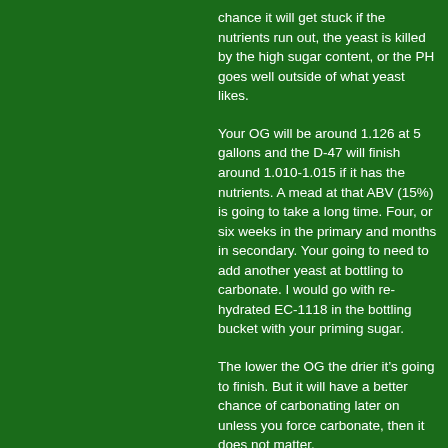chance it will get stuck if the nutrients run out, the yeast is killed by the high sugar content, or the PH goes well outside of what yeast likes.
Your OG will be around 1.126 at 5 gallons and the D-47 will finish around 1.010-1.015 if it has the nutrients. A mead at that ABV (15%) is going to take a long time. Four, or six weeks in the primary and months in secondary. Your going to need to add another yeast at bottling to carbonate. I would go with re-hydrated EC-1118 in the bottling bucket with your priming sugar.
The lower the OG the drier it’s going to finish. But it will have a better chance of carbonating later on unless you force carbonate, then it does not matter.
Use two or three packets of D-47 and re-hydrate before you dump it into a sugar content like that or risk killing off a big portion of the cells.
A 1.060 two packet starter might be needed the